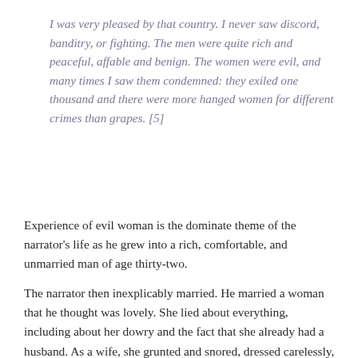I was very pleased by that country. I never saw discord, banditry, or fighting. The men were quite rich and peaceful, affable and benign. The women were evil, and many times I saw them condemned: they exiled one thousand and there were more hanged women for different crimes than grapes. [5]
Experience of evil woman is the dominate theme of the narrator's life as he grew into a rich, comfortable, and unmarried man of age thirty-two.
The narrator then inexplicably married. He married a woman that he thought was lovely. She lied about everything, including about her dowry and the fact that she already had a husband. As a wife, she grunted and snored, dressed carelessly, spent profligately, talked incessantly, and neglected her